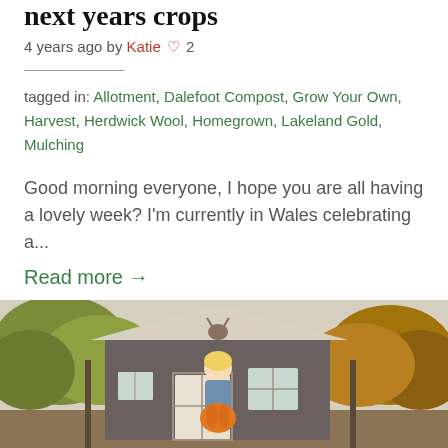next years crops
4 years ago by Katie ♡ 2
tagged in: Allotment, Dalefoot Compost, Grow Your Own, Harvest, Herdwick Wool, Homegrown, Lakeland Gold, Mulching
Good morning everyone, I hope you are all having a lovely week? I'm currently in Wales celebrating a...
Read more →
[Figure (photo): Woman standing outside a rustic wooden garden shed surrounded by trees and autumn foliage, holding something orange (likely a pumpkin).]